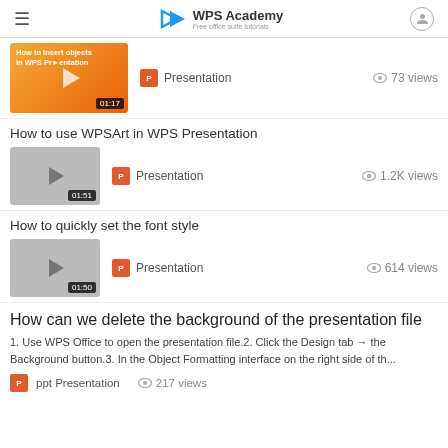WPS Academy — Free office suite tutorials
[Figure (screenshot): Video thumbnail for 'How to Insert objects in WPS Presentation' with orange gradient background, play button, duration 01:17]
Presentation   73 views
How to use WPSArt in WPS Presentation
[Figure (screenshot): Gray video thumbnail with play button, duration 01:51]
Presentation   1.2K views
How to quickly set the font style
[Figure (screenshot): Gray video thumbnail with play button, duration 01:50]
Presentation   614 views
How can we delete the background of the presentation file
1. Use WPS Office to open the presentation file.2. Click the Design tab → the Background button.3. In the Object Formatting interface on the right side of th...
ppt Presentation   217 views